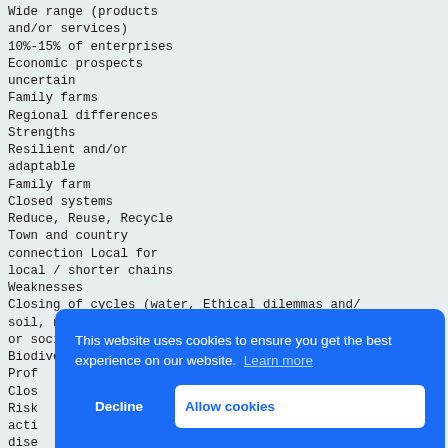Wide range (products and/or services)
10%-15% of enterprises
Economic prospects uncertain
Family farms
Regional differences
Strengths
Resilient and/or adaptable
Family farm
Closed systems
Reduce, Reuse, Recycle
Town and country connection Local for local / shorter chains
Weaknesses
Closing of cycles (water, Ethical dilemmas and/or social resistance
soil, nature)
Biodiversity preservation
Prof[itable]
Clos[ed]
Risk[...] acti[...] dise[...]
Prob[lematic] gove[rnment]
Regi[onal] gove[rnment]
Regi[onal] government
Regional or urban
[Figure (screenshot): Cookie consent banner overlay in blue. Text: 'This website uses cookies to ensure you get the best experience on our website. Learn more'. Two buttons: 'Decline' (white text) and 'Allow cookies' (white button with blue text).]